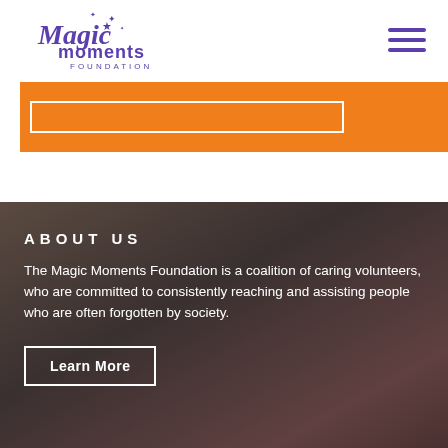[Figure (logo): Magic Moments Foundation logo with purple script text and stars]
[Figure (other): Hamburger menu icon (three horizontal purple lines)]
[Figure (other): Orange banner with white outlined rectangle inside]
ABOUT US
The Magic Moments Foundation is a coalition of caring volunteers, who are committed to consistently reaching and assisting people who are often forgotten by society.
Learn More